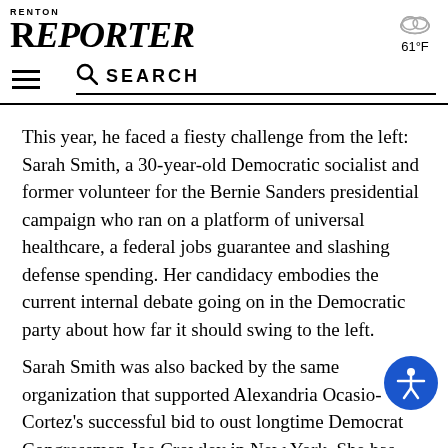RENTON REPORTER
61°F
SEARCH
This year, he faced a fiesty challenge from the left: Sarah Smith, a 30-year-old Democratic socialist and former volunteer for the Bernie Sanders presidential campaign who ran on a platform of universal healthcare, a federal jobs guarantee and slashing defense spending. Her candidacy embodies the current internal debate going on in the Democratic party about how far it should swing to the left.
Sarah Smith was also backed by the same organization that supported Alexandria Ocasio-Cortez's successful bid to oust longtime Democrat Congressman Joe Crowley in New York. She has